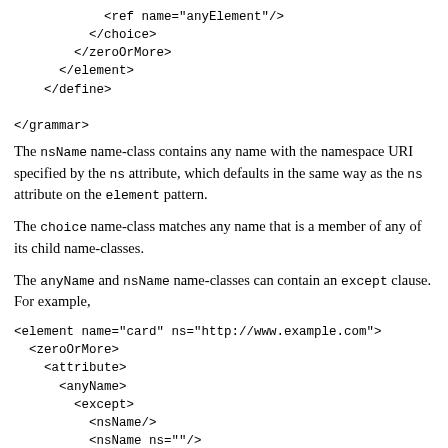<ref name="anyElement"/>
          </choice>
        </zeroOrMore>
      </element>
    </define>

</grammar>
The nsName name-class contains any name with the namespace URI specified by the ns attribute, which defaults in the same way as the ns attribute on the element pattern.
The choice name-class matches any name that is a member of any of its child name-classes.
The anyName and nsName name-classes can contain an except clause. For example,
<element name="card" ns="http://www.example.com">
  <zeroOrMore>
    <attribute>
      <anyName>
        <except>
          <nsName/>
          <nsName ns=""/>
        </except>
      </anyName>
    </attribute>